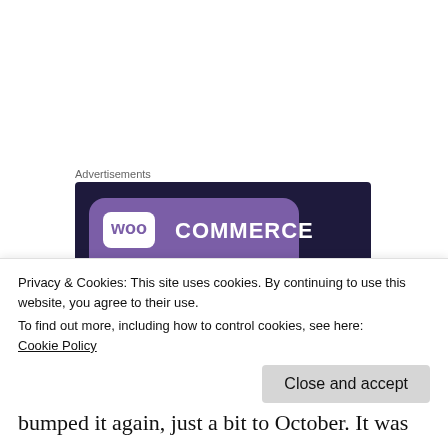Advertisements
[Figure (illustration): WooCommerce advertisement banner with purple/dark navy background, teal triangle accent, and text 'Turn your hobby into']
DaCosta appeared at the American Black Film
Privacy & Cookies: This site uses cookies. By continuing to use this website, you agree to their use.
To find out more, including how to control cookies, see here:
Cookie Policy
bumped it again, just a bit to October. It was